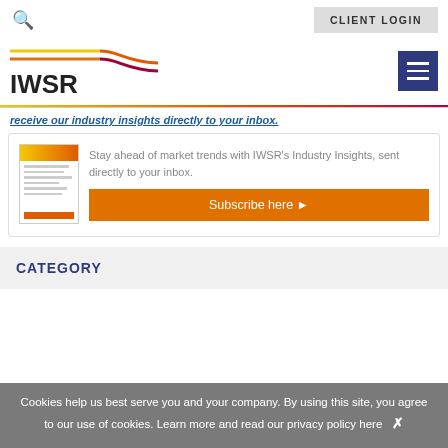CLIENT LOGIN
[Figure (logo): IWSR logo with colored swoosh lines in yellow, orange, red gradient]
receive our industry insights directly to your inbox.
Stay ahead of market trends with IWSR's Industry Insights, sent directly to your inbox.
Subscribe here ▶
CATEGORY
Cookies help us best serve you and your company. By using this site, you agree to our use of cookies. Learn more and read our privacy policy here